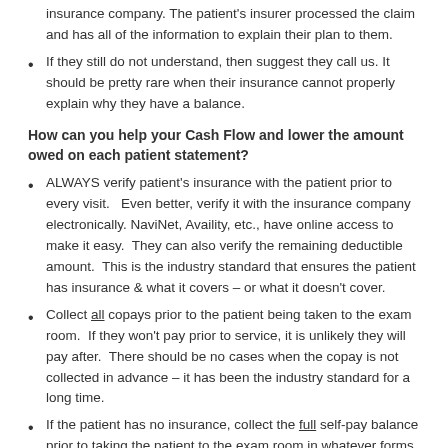insurance company. The patient's insurer processed the claim and has all of the information to explain their plan to them.
If they still do not understand, then suggest they call us. It should be pretty rare when their insurance cannot properly explain why they have a balance.
How can you help your Cash Flow and lower the amount owed on each patient statement?
ALWAYS verify patient's insurance with the patient prior to every visit. Even better, verify it with the insurance company electronically. NaviNet, Availity, etc., have online access to make it easy. They can also verify the remaining deductible amount. This is the industry standard that ensures the patient has insurance & what it covers – or what it doesn't cover.
Collect all copays prior to the patient being taken to the exam room. If they won't pay prior to service, it is unlikely they will pay after. There should be no cases when the copay is not collected in advance – it has been the industry standard for a long time.
If the patient has no insurance, collect the full self-pay balance prior to taking the patient to the exam room in whatever forms of payment you accept.